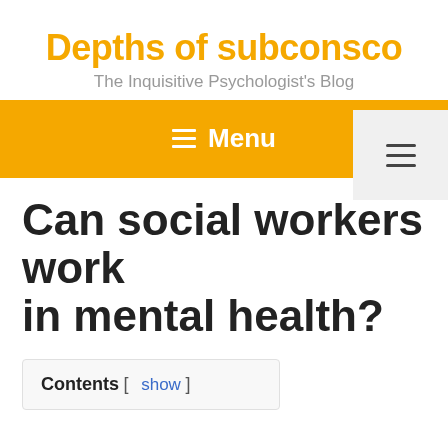Depths of subconsciousness
The Inquisitive Psychologist's Blog
[Figure (other): Hamburger menu icon button in a light gray box at top right]
≡ Menu
Can social workers work in mental health?
Contents [ show ]